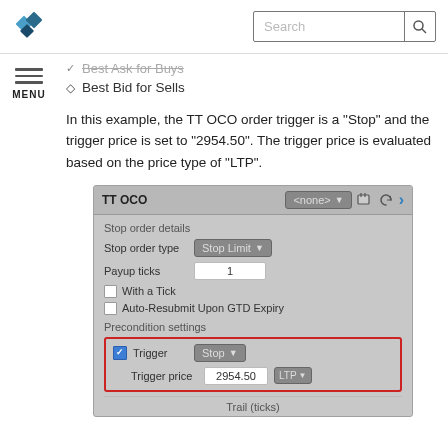TT OCO documentation page header with logo and search
Best Ask for Buys
Best Bid for Sells
In this example, the TT OCO order trigger is a "Stop" and the trigger price is set to "2954.50". The trigger price is evaluated based on the price type of "LTP".
[Figure (screenshot): TT OCO panel showing Stop order details section with Stop Limit order type, Payup ticks = 1, With a Tick checkbox, Auto-Resubmit Upon GTD Expiry checkbox, and Precondition settings section highlighted in red with Trigger set to Stop and Trigger price set to 2954.50 with LTP price type. Trail (ticks) row partially visible at bottom.]